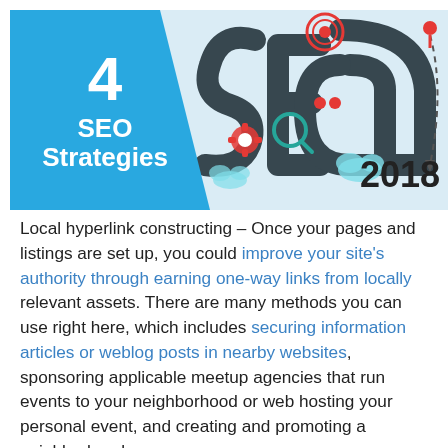[Figure (infographic): Banner with blue angled panel showing '4 SEO Strategies', large stylized 'SEO' text with icons (target, gear, magnifying glass, dot-path), and '2018' text on the right side. Light blue/white background.]
Local hyperlink constructing – Once your pages and listings are set up, you could improve your site's authority through earning one-way links from locally relevant assets. There are many methods you can use right here, which includes securing information articles or weblog posts in nearby websites, sponsoring applicable meetup agencies that run events to your neighborhood or web hosting your personal event, and creating and promoting a neighborhood resource,